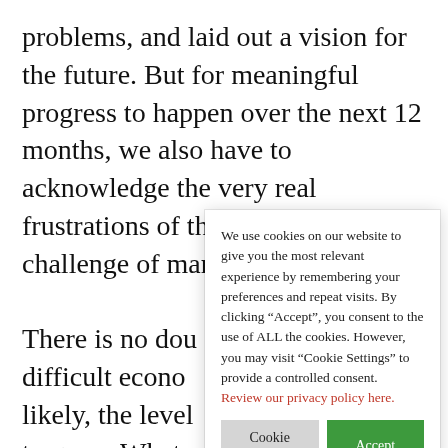problems, and laid out a vision for the future. But for meaningful progress to happen over the next 12 months, we also have to acknowledge the very real frustrations of those touched by the challenge of managing work
There is no dou difficult econo likely, the level to grow. What months, our fin affirming, "Yes us out of our re tight grip on in create a fuller, more flexible shared vision of work
We use cookies on our website to give you the most relevant experience by remembering your preferences and repeat visits. By clicking “Accept”, you consent to the use of ALL the cookies. However, you may visit “Cookie Settings” to provide a controlled consent. Review our privacy policy here.